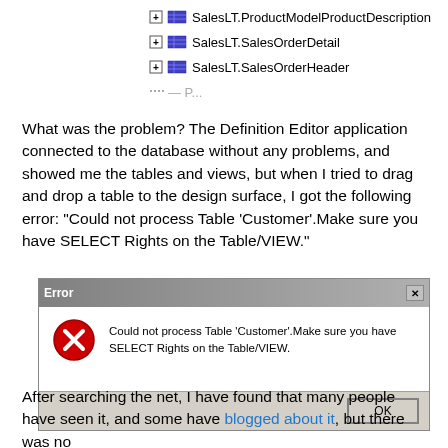[Figure (screenshot): Database tree view showing SalesLT table entries: SalesLT.ProductModelProductDescription, SalesLT.SalesOrderDetail, SalesLT.SalesOrderHeader, with expand icons and table icons]
What was the problem? The Definition Editor application connected to the database without any problems, and showed me the tables and views, but when I tried to drag and drop a table to the design surface, I got the following error: "Could not process Table 'Customer'.Make sure you have SELECT Rights on the Table/VIEW."
[Figure (screenshot): Windows error dialog box titled 'Error' with an X close button. Shows a red circle with white X icon and the message: Could not process Table 'Customer'.Make sure you have SELECT Rights on the Table/VIEW. Has an OK button at bottom right.]
After searching the net, I have found that many people have seen it, and some have blogged about it, but there was no solution.